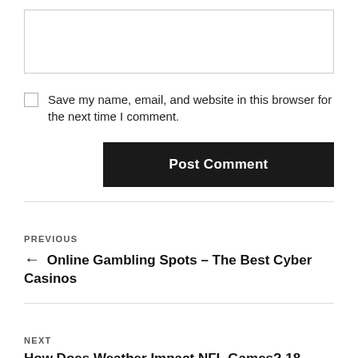[Figure (screenshot): A text area input box with a light gray border]
Save my name, email, and website in this browser for the next time I comment.
Post Comment
PREVIOUS
← Online Gambling Spots – The Best Cyber Casinos
NEXT
How Does Weather Impact NFL Games? 18 Factors Which Need To Be Considered →